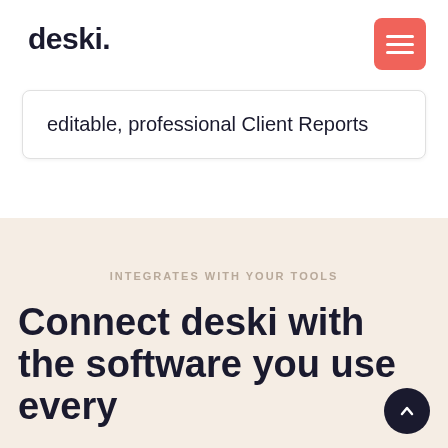deski.
editable, professional Client Reports
INTEGRATES WITH YOUR TOOLS
Connect deski with the software you use every